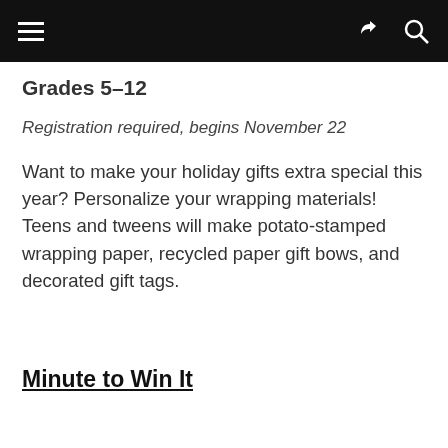Grades 5-12
Registration required, begins November 22
Want to make your holiday gifts extra special this year? Personalize your wrapping materials! Teens and tweens will make potato-stamped wrapping paper, recycled paper gift bows, and decorated gift tags.
Minute to Win It